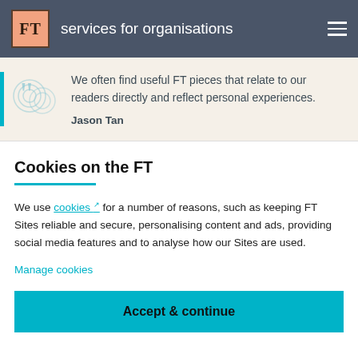FT services for organisations
We often find useful FT pieces that relate to our readers directly and reflect personal experiences. Jason Tan
Cookies on the FT
We use cookies for a number of reasons, such as keeping FT Sites reliable and secure, personalising content and ads, providing social media features and to analyse how our Sites are used.
Manage cookies
Accept & continue